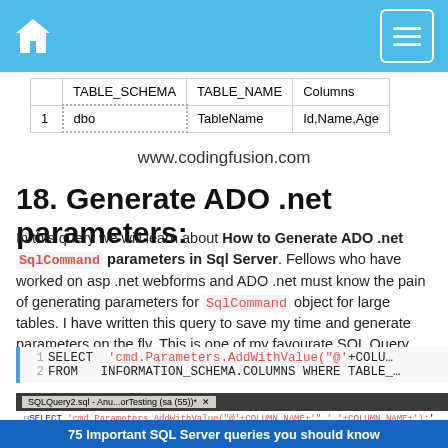[Figure (screenshot): Blue header bar with home icon and menu icon]
|  | TABLE_SCHEMA | TABLE_NAME | Columns |
| --- | --- | --- | --- |
| 1 | dbo | TableName | Id,Name,Age |
www.codingfusion.com
18. Generate ADO .net parameters:
In this query we will learn about How to Generate ADO .net SqlCommand parameters in Sql Server. Fellows who have worked on asp .net webforms and ADO .net must know the pain of generating parameters for SqlCommand object for large tables. I have written this query to save my time and generate parameters on the fly. This is one of my favourate SQL Query.
[Figure (screenshot): Code block showing SELECT 'cmd.Parameters.AddWithValue("@"+COLU FROM INFORMATION_SCHEMA.COLUMNS WHERE TABLE_]
[Figure (screenshot): SSMS screenshot showing SQLQuery2.sql - Anu...orTesting (sa (55))* with SQL code SELECT 'cmd.Parameters.AddWithValue('@'+COLUMN_NAME+'',' '+COLUMN_NAME+');' FROM INFORMATION_SCHEMA.COLUMNS WHERE TABLE_NAME = 'TableName']
75 Important SQL Server queries you should know